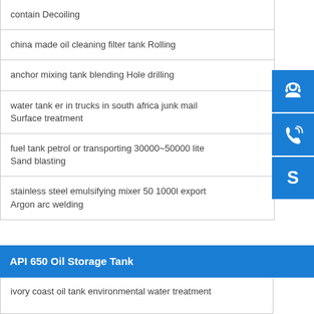contain Decoiling
china made oil cleaning filter tank Rolling
anchor mixing tank blending Hole drilling
water tank er in trucks in south africa junk mail Surface treatment
fuel tank petrol or transporting 30000~50000 lite Sand blasting
stainless steel emulsifying mixer 50 1000l export Argon arc welding
API 650 Oil Storage Tank
ivory coast oil tank environmental water treatment